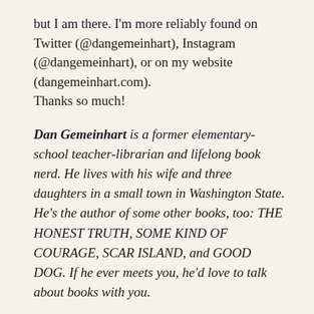but I am there. I'm more reliably found on Twitter (@dangemeinhart), Instagram (@dangemeinhart), or on my website (dangemeinhart.com).
Thanks so much!
Dan Gemeinhart is a former elementary-school teacher-librarian and lifelong book nerd. He lives with his wife and three daughters in a small town in Washington State. He's the author of some other books, too: THE HONEST TRUTH, SOME KIND OF COURAGE, SCAR ISLAND, and GOOD DOG. If he ever meets you, he'd love to talk about books with you.